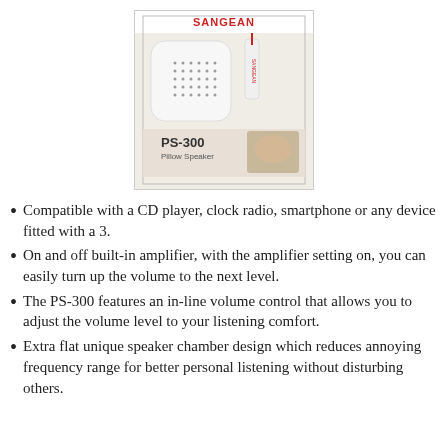[Figure (photo): Sangean PS-300 Pillow Speaker product box showing the speaker device and packaging with the Sangean brand name and PS-300 Pillow Speaker label.]
Compatible with a CD player, clock radio, smartphone or any device fitted with a 3.
On and off built-in amplifier, with the amplifier setting on, you can easily turn up the volume to the next level.
The PS-300 features an in-line volume control that allows you to adjust the volume level to your listening comfort.
Extra flat unique speaker chamber design which reduces annoying frequency range for better personal listening without disturbing others.